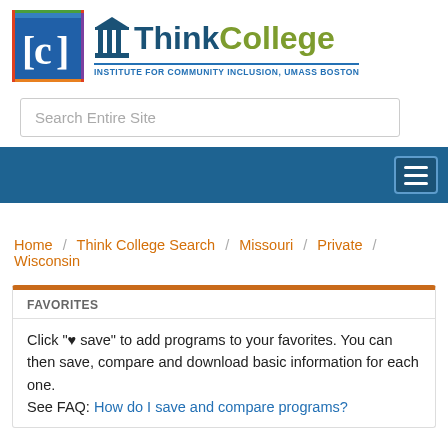[Figure (logo): ICI (Institute for Community Inclusion) colored square logo with letter I, C, I on blue background, framed with red, green, orange, and purple borders]
[Figure (logo): ThinkCollege logo with dark blue pillar/column icon, 'Think' in dark blue bold text and 'College' in olive/green bold text, with tagline 'INSTITUTE FOR COMMUNITY INCLUSION, UMASS BOSTON' in blue below a blue rule]
Search Entire Site
[Figure (other): Dark blue navigation bar with hamburger menu icon (three horizontal white lines) in a bordered box at the right]
Home / Think College Search / Missouri / Private / Wisconsin
FAVORITES
Click "♥ save" to add programs to your favorites. You can then save, compare and download basic information for each one.
See FAQ: How do I save and compare programs?